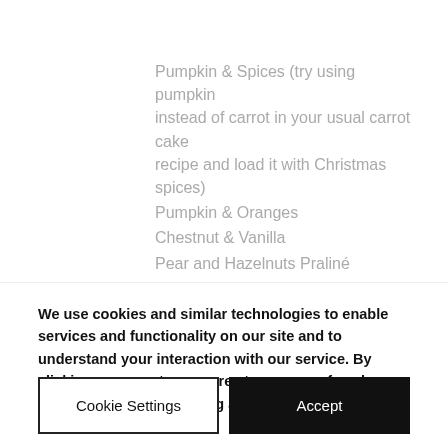Pumpkin & Spices (try using pumpkin instead of carrot in your usual carrot cake recipe and load it with Christmas spices)
Pumpkin & Oranges
Chestnut & Vanilla
Pear and Hazelnuts Praliné
Chestnuts and Vanilla
Apple and Salted Caramel
Orange & Spices
We use cookies and similar technologies to enable services and functionality on our site and to understand your interaction with our service. By clicking on accept, you agree to our use of such technologies for marketing and analytics. See Privacy Policy